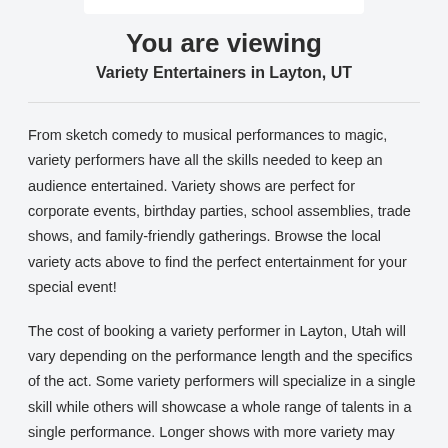You are viewing
Variety Entertainers in Layton, UT
From sketch comedy to musical performances to magic, variety performers have all the skills needed to keep an audience entertained. Variety shows are perfect for corporate events, birthday parties, school assemblies, trade shows, and family-friendly gatherings. Browse the local variety acts above to find the perfect entertainment for your special event!
The cost of booking a variety performer in Layton, Utah will vary depending on the performance length and the specifics of the act. Some variety performers will specialize in a single skill while others will showcase a whole range of talents in a single performance. Longer shows with more variety may cost more.